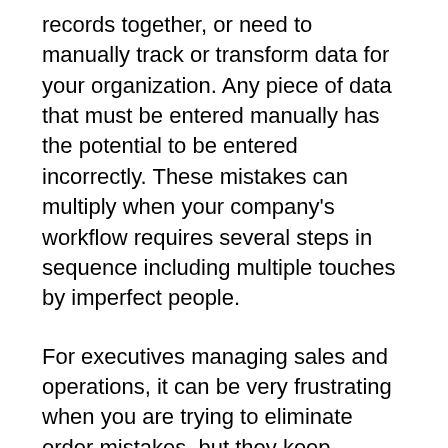records together, or need to manually track or transform data for your organization. Any piece of data that must be entered manually has the potential to be entered incorrectly. These mistakes can multiply when your company's workflow requires several steps in sequence including multiple touches by imperfect people.
For executives managing sales and operations, it can be very frustrating when you are trying to eliminate order mistakes, but they keep happening. You can dive deep into root cause analysis, even hire a consultant to draw you a Pareto diagram of your problem, but in most cases you're going to keep making these same mistakes until you find a smarter way. For instance, you may have a list of shipping codes, and whenever someone inadvertently transposes a shipping